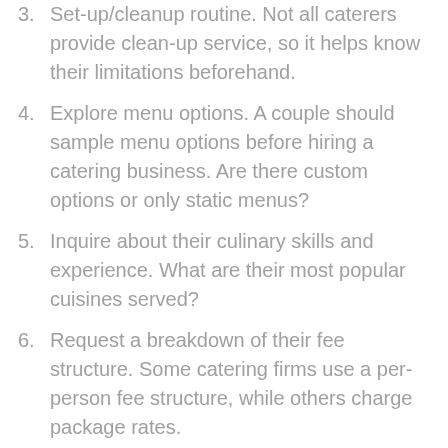Set-up/cleanup routine. Not all caterers provide clean-up service, so it helps know their limitations beforehand.
Explore menu options. A couple should sample menu options before hiring a catering business. Are there custom options or only static menus?
Inquire about their culinary skills and experience. What are their most popular cuisines served?
Request a breakdown of their fee structure. Some catering firms use a per-person fee structure, while others charge package rates.
Dietary/allergy requests. Get to understand how a wedding catering business handles